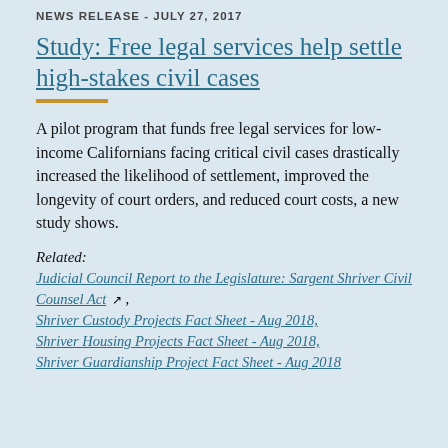NEWS RELEASE - JULY 27, 2017
Study: Free legal services help settle high-stakes civil cases
A pilot program that funds free legal services for low-income Californians facing critical civil cases drastically increased the likelihood of settlement, improved the longevity of court orders, and reduced court costs, a new study shows.
Related: Judicial Council Report to the Legislature: Sargent Shriver Civil Counsel Act , Shriver Custody Projects Fact Sheet - Aug 2018, Shriver Housing Projects Fact Sheet - Aug 2018, Shriver Guardianship Project Fact Sheet - Aug 2018